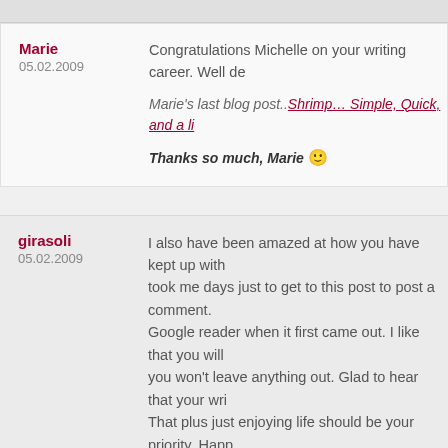Marie
05.02.2009
Congratulations Michelle on your writing career. Well de
Marie’s last blog post..Shrimp… Simple, Quick, and a li
Thanks so much, Marie 🙂
girasoli
05.02.2009
I also have been amazed at how you have kept up with took me days just to get to this post to post a comment. Google reader when it first came out. I like that you will you won’t leave anything out. Glad to hear that your wri That plus just enjoying life should be your priority. Happ
girasoli’s last blog post..catching up
Thanks so much for your support; I’m still trying to commenting on more blogs…I miss my blog friends